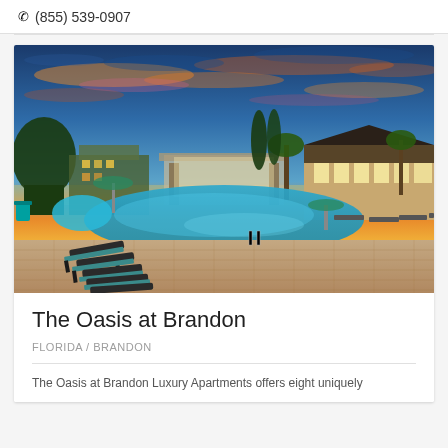(855) 539-0907
[Figure (photo): Outdoor swimming pool area of The Oasis at Brandon luxury apartment complex at sunset. Lounge chairs are arranged on a brick patio in the foreground, with a large resort-style pool in the center, surrounded by palm trees and landscaping. Buildings with warm lighting are visible in the background under a dramatic orange and blue sunset sky.]
The Oasis at Brandon
FLORIDA / BRANDON
The Oasis at Brandon Luxury Apartments offers eight uniquely